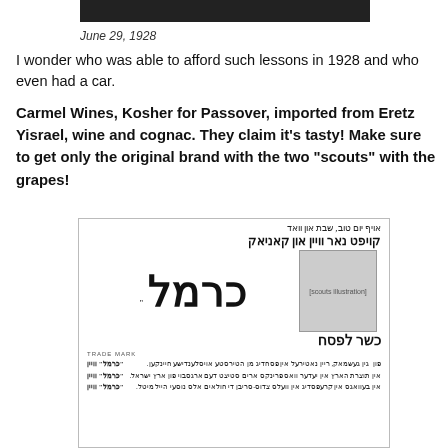[Figure (photo): Redacted/blacked-out image at the top of the page]
June 29, 1928
I wonder who was able to afford such lessons in 1928 and who even had a car.
Carmel Wines, Kosher for Passover, imported from Eretz Yisrael, wine and cognac. They claim it’s tasty! Make sure to get only the original brand with the two “scouts” with the grapes!
[Figure (photo): Vintage advertisement in Hebrew/Yiddish for Carmel wine (kosher for Passover), showing two scouts carrying grapes, large Hebrew letters spelling Carmel, and smaller text below. Includes TRADE MARK label.]